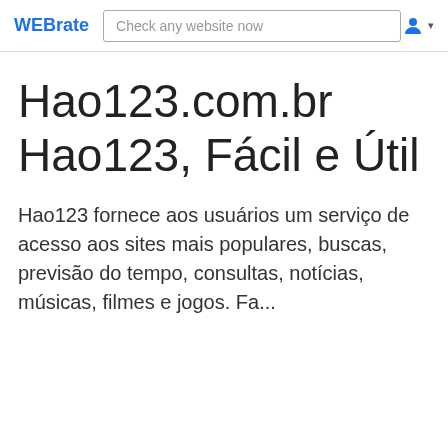WEBrate
Hao123.com.br Hao123, Fácil e Útil
Hao123 fornece aos usuários um serviço de acesso aos sites mais populares, buscas, previsão do tempo, consultas, notícias, músicas, filmes e jogos. Fa...